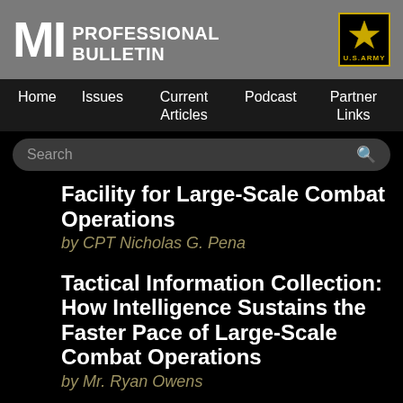MI PROFESSIONAL BULLETIN
U.S. ARMY
Home  Issues  Current Articles  Podcast  Partner Links
Facility for Large-Scale Combat Operations
by CPT Nicholas G. Pena
Tactical Information Collection: How Intelligence Sustains the Faster Pace of Large-Scale Combat Operations
by Mr. Ryan Owens